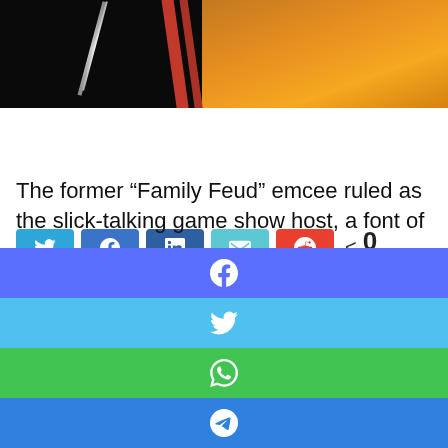[Figure (photo): A photo showing two people, one in dark clothing on the left and one in a yellow/orange outfit on the right, with a red bar/railing between them.]
[Figure (infographic): Social share buttons row: Twitter (blue), Facebook (dark blue), LinkedIn (navy), Email (teal), Reddit (red), and a shares count showing 0 SHARES]
The former “Family Feud” emcee ruled as the slick-talking game show host, a font of
[Figure (infographic): Social sharing overlay strips: Facebook (purple-blue), Twitter (light blue), WhatsApp (green), Telegram (blue), Viber (purple)]